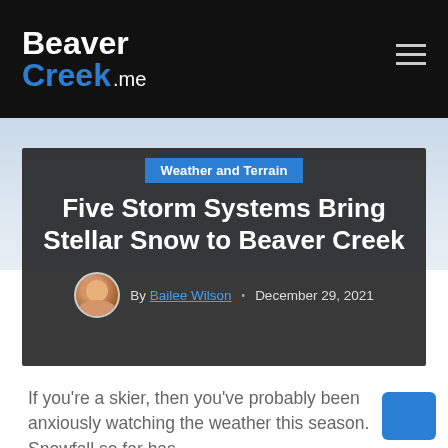BeaverCreek.me
[Figure (photo): Article hero image with snowy/sky background, dark overlay containing article metadata]
Weather and Terrain
Five Storm Systems Bring Stellar Snow to Beaver Creek
By Bailee Wilson • December 29, 2021
If you're a skier, then you've probably been anxiously watching the weather this season. Snowfall so far has